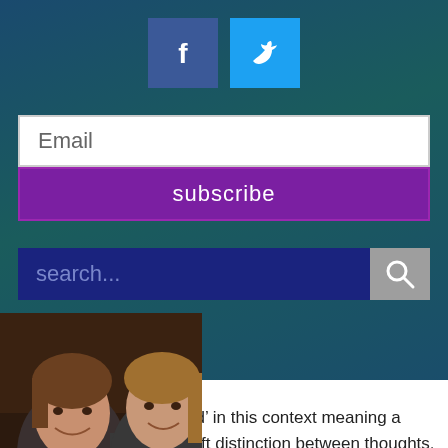[Figure (other): Facebook social media button icon]
[Figure (other): Twitter social media button icon]
Email
subscribe
search...
[Figure (photo): Two young men smiling, photographed indoors]
paragraph. (With ‘defined’ in this context meaning a measured pace and a soft distinction between thoughts. My rewrite loses the feel of ‘distinct thoughts in one sentence’ and just